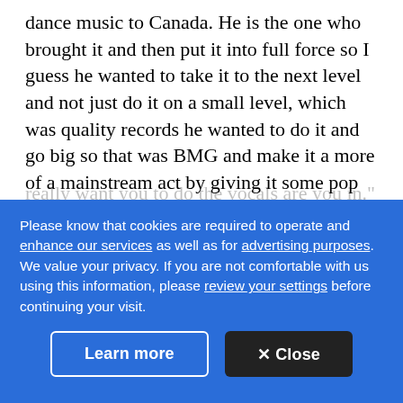dance music to Canada. He is the one who brought it and then put it into full force so I guess he wanted to take it to the next level and not just do it on a small level, which was quality records he wanted to do it and go big so that was BMG and make it a more of a mainstream act by giving it some pop influences yeah and so that's how Love Inc. was when he called me up and he said, "Listen I'm starting a new group," and he's like, "I want you to be the lead vocals." I said, "What kind of music?" "Dance and house music influence but I
Please know that cookies are required to operate and enhance our services as well as for advertising purposes. We value your privacy. If you are not comfortable with us using this information, please review your settings before continuing your visit.